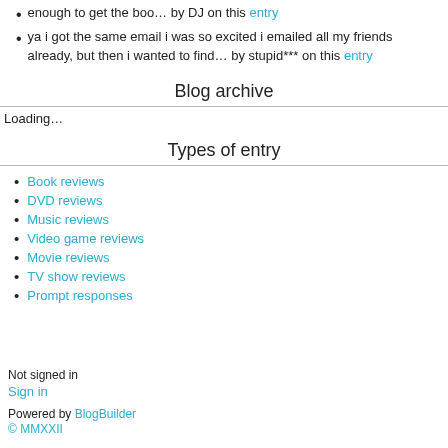enough to get the boo… by DJ on this entry
ya i got the same email i was so excited i emailed all my friends already, but then i wanted to find… by stupid*** on this entry
Blog archive
Loading…
Types of entry
Book reviews
DVD reviews
Music reviews
Video game reviews
Movie reviews
TV show reviews
Prompt responses
Not signed in
Sign in
Powered by BlogBuilder
© MMXXII